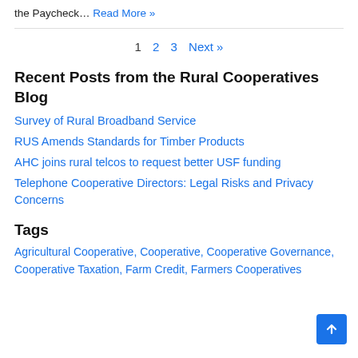the Paycheck… Read More »
1  2  3  Next »
Recent Posts from the Rural Cooperatives Blog
Survey of Rural Broadband Service
RUS Amends Standards for Timber Products
AHC joins rural telcos to request better USF funding
Telephone Cooperative Directors: Legal Risks and Privacy Concerns
Tags
Agricultural Cooperative, Cooperative, Cooperative Governance, Cooperative Taxation, Farm Credit, Farmers Cooperatives